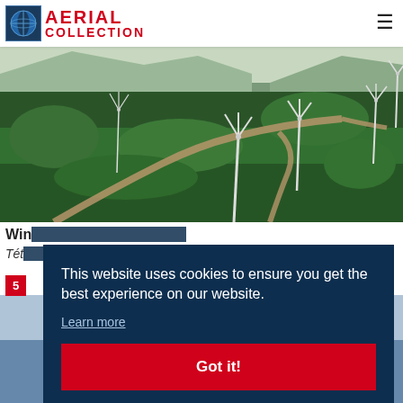AERIAL COLLECTION
[Figure (photo): Aerial view of a forested hillside with multiple wind turbines and dirt roads cutting through dense green forest.]
Wind turbines in a forest - Tétonia
Tétonia
5
[Figure (photo): Aerial/ground level photo of wind turbines, partially visible at bottom of page.]
This website uses cookies to ensure you get the best experience on our website. Learn more Got it!